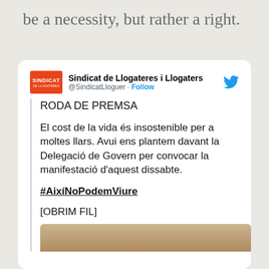be a necessity, but rather a right.
[Figure (screenshot): Embedded tweet from Sindicat de Llogateres i Llogaters (@SindicatLloguer) with text: 'RODA DE PREMSA

El cost de la vida és insostenible per a moltes llars. Avui ens plantem davant la Delegació de Govern per convocar la manifestació d'aquest dissabte.

#AixíNoPodemViure

[OBRIM FIL]' followed by a photo]
Sindicat de Llogateres i Llogaters @SindicatLloguer · Follow